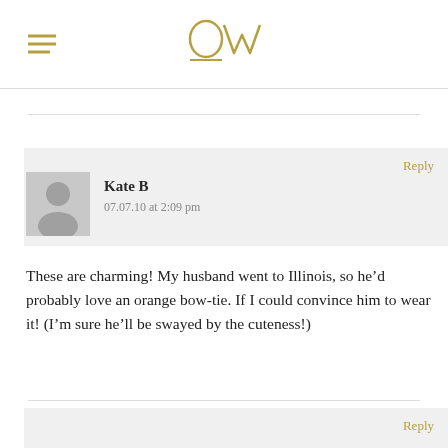[Figure (logo): OW logo with golden/tan color and hamburger menu icon on the left]
Reply
[Figure (illustration): Default user avatar - grey silhouette of a person]
Kate B
07.07.10 at 2:09 pm
These are charming! My husband went to Illinois, so he’d probably love an orange bow-tie. If I could convince him to wear it! (I’m sure he’ll be swayed by the cuteness!)
Reply